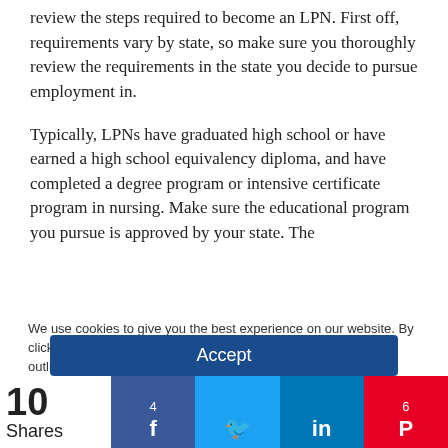review the steps required to become an LPN. First off, requirements vary by state, so make sure you thoroughly review the requirements in the state you decide to pursue employment in.
Typically, LPNs have graduated high school or have earned a high school equivalency diploma, and have completed a degree program or intensive certificate program in nursing. Make sure the educational program you pursue is approved by your state. The
We use cookies to give you the best experience on our website. By clicking 'Accept' you are consenting to the use of this data as outlined in our Privacy and Cookie Policy.
Accept
10 Shares | 4 | Twitter | in | 6 Pinterest